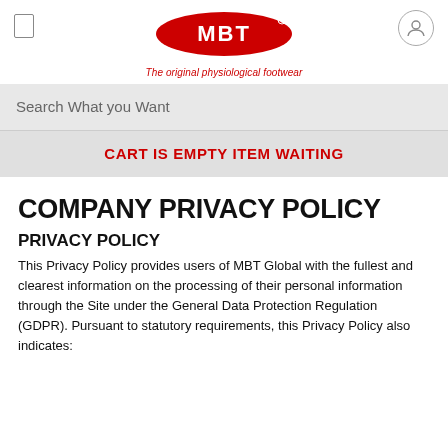[Figure (logo): MBT logo — red oval with white MBT text and registered trademark, tagline 'The original physiological footwear' in red italic below]
Search What you Want
CART IS EMPTY ITEM WAITING
COMPANY PRIVACY POLICY
PRIVACY POLICY
This Privacy Policy provides users of MBT Global with the fullest and clearest information on the processing of their personal information through the Site under the General Data Protection Regulation (GDPR). Pursuant to statutory requirements, this Privacy Policy also indicates: